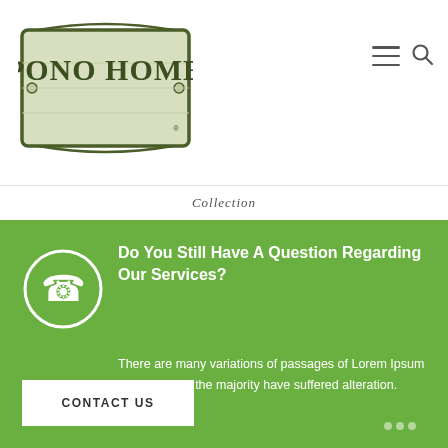[Figure (logo): Pono Home logo — ornate wooden sign shape with dark green border, text 'PONO HOME' in serif font]
Collection
Do You Still Have A Question Regarding Our Services?
There are many variations of passages of Lorem Ipsum available, but the majority have suffered alteration.
CONTACT US